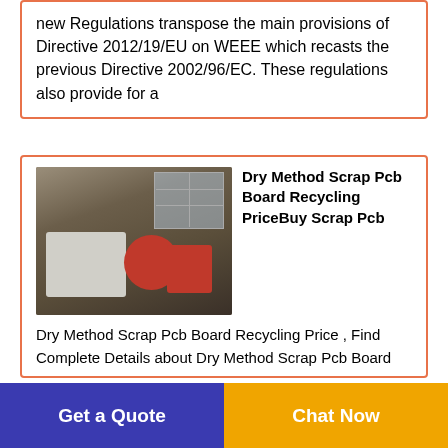new Regulations transpose the main provisions of Directive 2012/19/EU on WEEE which recasts the previous Directive 2002/96/EC. These regulations also provide for a
[Figure (photo): Industrial PCB recycling machine equipment in a warehouse/factory setting]
Dry Method Scrap Pcb Board Recycling PriceBuy Scrap Pcb
Dry Method Scrap Pcb Board Recycling Price , Find Complete Details about Dry Method Scrap Pcb Board Recycling Price,Scrap Pcb Board Recycling Price,Scrap Electronic Pcb Recycling Equipment,Pcb Recycling Production Line Waste Circuit